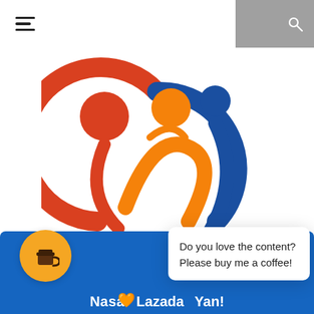Navigation bar with hamburger menu and search/dark mode icons
[Figure (logo): Iloilo Bloggers Society logo: three stylized figures in red, orange, and blue forming a circle, with the text ILOILOBLOGGERSSOCIETY below in blue and orange bold lettering]
Do you love the content? Please buy me a coffee!
Nasa Lazada Yan!